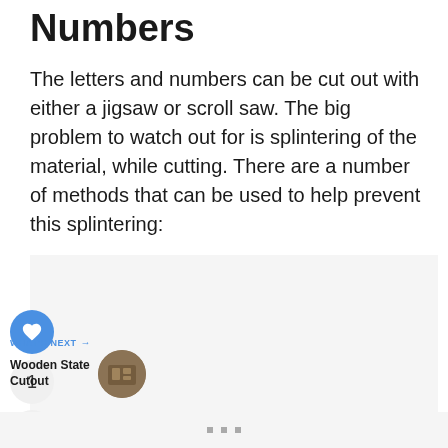Numbers
The letters and numbers can be cut out with either a jigsaw or scroll saw. The big problem to watch out for is splintering of the material, while cutting. There are a number of methods that can be used to help prevent this splintering:
[Figure (other): Social interaction sidebar with heart/like button (blue circle with white heart icon), count badge showing '1', and share button (gray circle with blue share icon)]
[Figure (other): What's Next navigation panel showing 'WHAT'S NEXT →' label in blue, 'Wooden State Cutout' text link, and a circular thumbnail image of a wooden cutout]
[Figure (other): Bottom navigation bar with three small gray square dots]